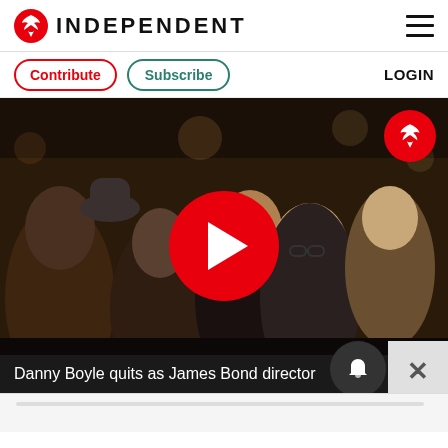INDEPENDENT
Contribute  Subscribe  LOGIN
[Figure (screenshot): Video thumbnail showing Danny Boyle at a film premiere or public event, surrounded by a crowd of people. A large red circular play button is overlaid in the center. An Independent eagle logo watermark is in the top-right corner.]
Danny Boyle quits as James Bond director